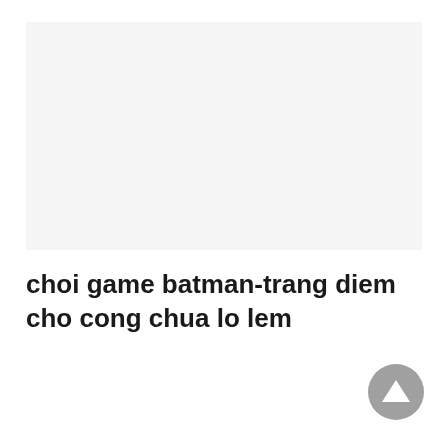[Figure (other): Large light gray rectangular image placeholder area at the top of the page]
choi game batman-trang diem cho cong chua lo lem
[Figure (other): Gray circle with white upward-pointing triangle arrow button in bottom-right corner]